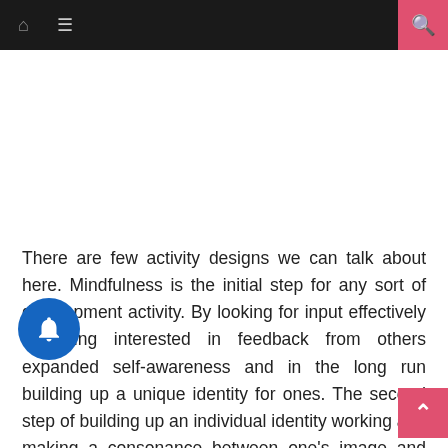Navigation bar with home icon, menu icon, and search button
[Figure (other): White blank area, likely an advertisement or image placeholder]
There are few activity designs we can talk about here. Mindfulness is the initial step for any sort of development activity. By looking for input effectively or being interested in feedback from others expanded self-awareness and in the long run building up a unique identity for ones. The second step of building up an individual identity working and making a consonance between one's image and one's identity. The input we seek from others fills various needs and serves multiple purposes. It enables us to change a few aspects of ourselves that may impede the advancement of a one of a unique